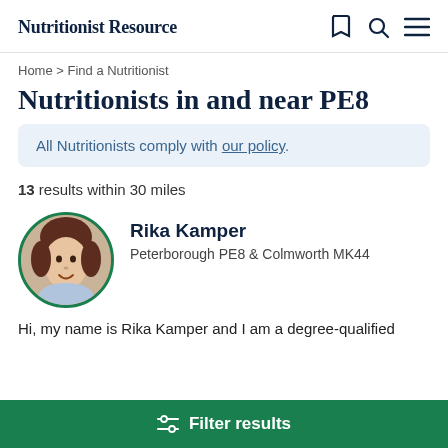Nutritionist Resource
Home > Find a Nutritionist
Nutritionists in and near PE8
All Nutritionists comply with our policy.
13 results within 30 miles
[Figure (photo): Circular profile photo of Rika Kamper with green border]
Rika Kamper
Peterborough PE8 & Colmworth MK44
Hi, my name is Rika Kamper and I am a degree-qualified
Filter results